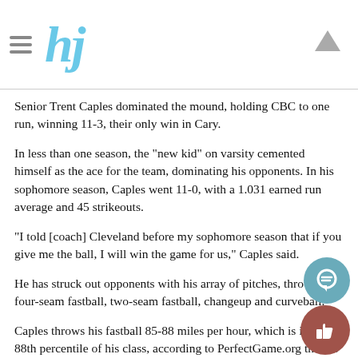hj
Senior Trent Caples dominated the mound, holding CBC to one run, winning 11-3, their only win in Cary.
In less than one season, the "new kid" on varsity cemented himself as the ace for the team, dominating his opponents. In his sophomore season, Caples went 11-0, with a 1.031 earned run average and 45 strikeouts.
"I told [coach] Cleveland before my sophomore season that if you give me the ball, I will win the game for us," Caples said.
He has struck out opponents with his array of pitches, throwing a four-seam fastball, two-seam fastball, changeup and curveball.
Caples throws his fastball 85-88 miles per hour, which is in the 88th percentile of his class, according to PerfectGame.org throws other pitches like his curveball to throw hitters' timing off during an at-bat, which generated success in his sophomore season under Cleveland.